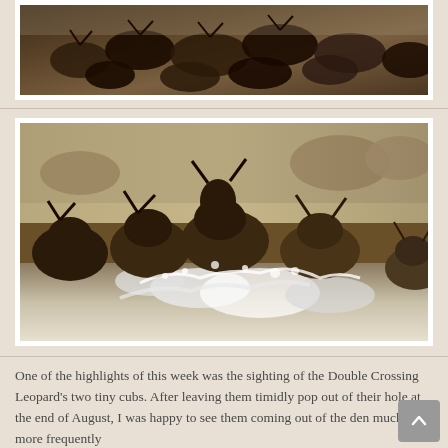[Figure (photo): Top portion of a photo showing a large herd of wildebeest/buffalo crowded together, dark tones, dusty atmosphere]
[Figure (photo): Wildebeest crossing a river, splashing through water, dramatic action shot with dust and water spray, multiple animals in motion]
One of the highlights of this week was the sighting of the Double Crossing Leopard's two tiny cubs. After leaving them timidly pop out of their hole at the end of August, I was happy to see them coming out of the den much more frequently